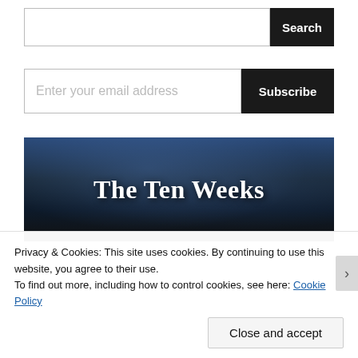[Figure (screenshot): Search input field with a dark 'Search' button to the right]
[Figure (screenshot): Email subscription input field with placeholder 'Enter your email address' and a dark 'Subscribe' button]
[Figure (illustration): Dark blue smoky book banner with white bold serif text reading 'The Ten Weeks']
Privacy & Cookies: This site uses cookies. By continuing to use this website, you agree to their use.
To find out more, including how to control cookies, see here: Cookie Policy
Close and accept